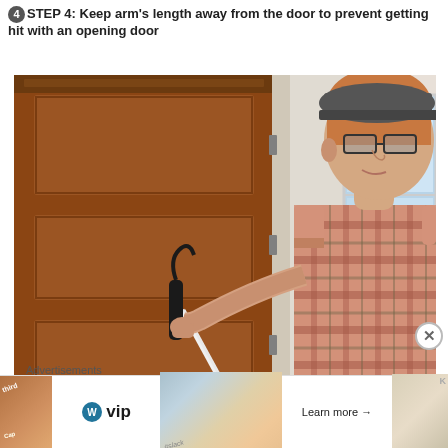STEP 4: Keep arm's length away from the door to prevent getting hit with an opening door
[Figure (photo): A man wearing glasses, a plaid short-sleeve shirt, and a cap, standing in front of a wooden door and holding a white cane with a black handle against the door, demonstrating technique for visually impaired individuals approaching a door.]
Advertisements